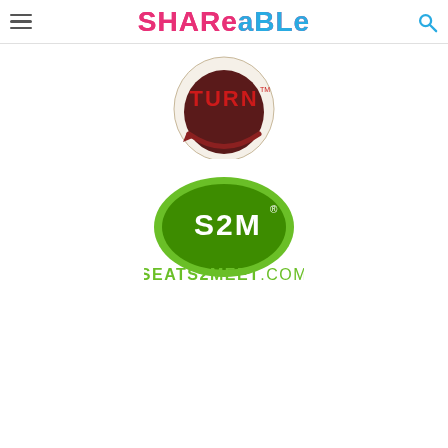Shareable — navigation header with hamburger menu and search icon
[Figure (logo): Partial circular logo with dark red/maroon background showing the word TURN in red with a TM mark, circular shape, partially cropped at top of page]
[Figure (logo): Seats2Meet.com logo: green oval/egg shape containing white S2M text with registered trademark symbol, below which reads SEATS2MEET.COM in green letters]